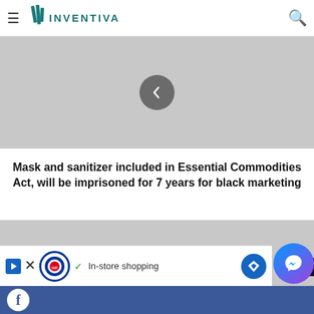INVENTIVA
[Figure (photo): Gray placeholder image with a circular back-navigation button (chevron left) centered over it]
Mask and sanitizer included in Essential Commodities Act, will be imprisoned for 7 years for black marketing
[Figure (photo): Gray placeholder image with a circular forward-navigation button (chevron right) centered over it]
[Figure (other): Advertisement bar: Lidl logo, checkmark, In-store shopping text, map/directions icon, close button]
Facebook social bar at bottom